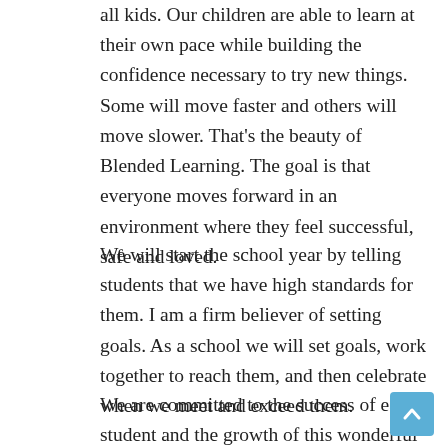all kids. Our children are able to learn at their own pace while building the confidence necessary to try new things. Some will move faster and others will move slower. That's the beauty of Blended Learning. The goal is that everyone moves forward in an environment where they feel successful, safe and loved.
We will start the school year by telling students that we have high standards for them. I am a firm believer of setting goals. As a school we will set goals, work together to reach them, and then celebrate when we meet and exceed them.
We are committed to the success of each student and the growth of this wonderful school. Let's listen to each other, honor opinions and work together to